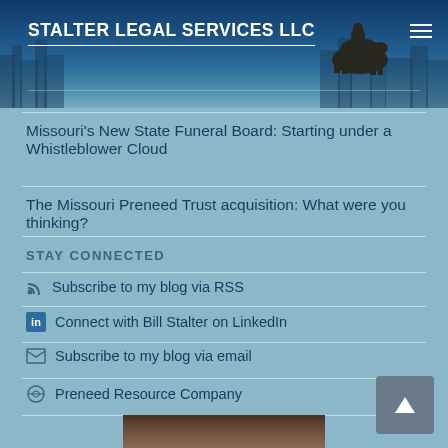STALTER LEGAL SERVICES LLC
Missouri's New State Funeral Board: Starting under a Whistleblower Cloud
The Missouri Preneed Trust acquisition: What were you thinking?
STAY CONNECTED
Subscribe to my blog via RSS
Connect with Bill Stalter on LinkedIn
Subscribe to my blog via email
Preneed Resource Company
[Figure (photo): Portrait photo of Bill Stalter]